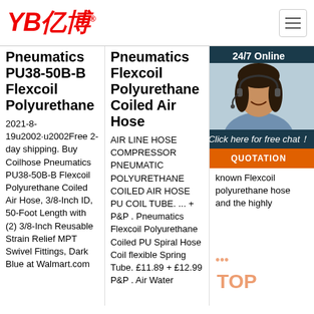[Figure (logo): YB亿博 logo in red italic bold text with registered trademark symbol]
Pneumatics PU38-50B-B Flexcoil Polyurethane
2021-8-19u2002·u2002Free 2-day shipping. Buy Coilhose Pneumatics PU38-50B-B Flexcoil Polyurethane Coiled Air Hose, 3/8-Inch ID, 50-Foot Length with (2) 3/8-Inch Reusable Strain Relief MPT Swivel Fittings, Dark Blue at Walmart.com
Pneumatics Flexcoil Polyurethane Coiled Air Hose
AIR LINE HOSE COMPRESSOR PNEUMATIC POLYURETHANE COILED AIR HOSE PU COIL TUBE. ... + P&P . Pneumatics Flexcoil Polyurethane Coiled PU Spiral Hose Coil flexible Spring Tube. £11.89 + £12.99 P&P . Air Water
QPandC
202... 3u2... offe... per... hos... Coi... Pne... ran... hos... ligh... hea... and... variety of fittings and repair kits. Our line of coiled hoses includes the well-known Flexcoil polyurethane hose and the highly
[Figure (photo): 24/7 Online chat overlay with photo of woman wearing headset, Click here for free chat!, QUOTATION button in orange]